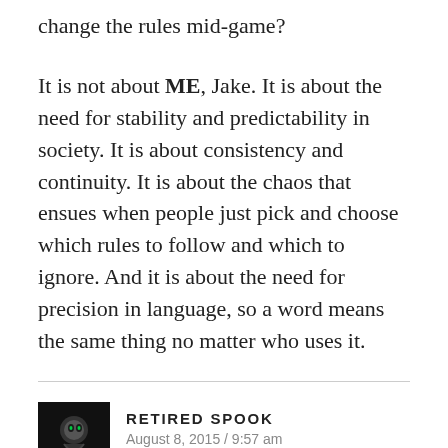change the rules mid-game?
It is not about ME, Jake. It is about the need for stability and predictability in society. It is about consistency and continuity. It is about the chaos that ensues when people just pick and choose which rules to follow and which to ignore. And it is about the need for precision in language, so a word means the same thing no matter who uses it.
[Figure (photo): Black and white avatar photo of Retired Spook commenter]
RETIRED SPOOK
August 8, 2015 / 9:57 am
i do not really care but you seem so worked up over the idea that cluster dares disagrees with you over social security or medicade and you